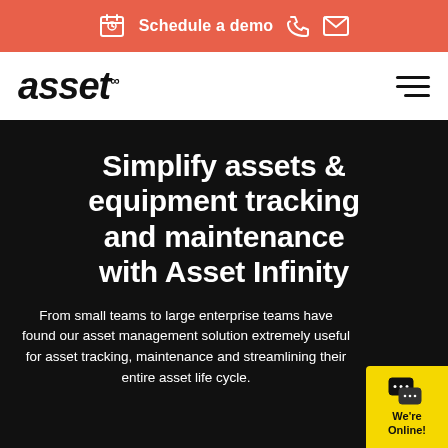Schedule a demo
[Figure (logo): Asset Infinity logo — bold italic 'asset' with infinity symbol superscript]
Simplify assets & equipment tracking and maintenance with Asset Infinity
From small teams to large enterprise teams have found our asset management solution extremely useful for asset tracking, maintenance and streamlining their entire asset life cycle.